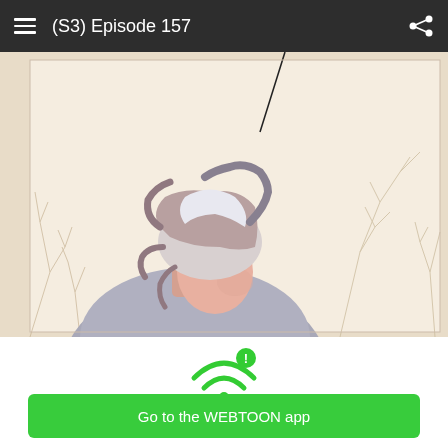(S3) Episode 157
[Figure (illustration): Manga/webtoon panel showing the back of an anime character with gray-white and brown hair, looking down, surrounded by bare winter trees in the background. A thin dark line (possibly a sword or rod) extends from top center.]
[Figure (infographic): Green WiFi signal icon with an exclamation mark badge indicating a slow/no network warning.]
Having trouble with slow networks?
Download stories on your phone and read offline!
Go to the WEBTOON app